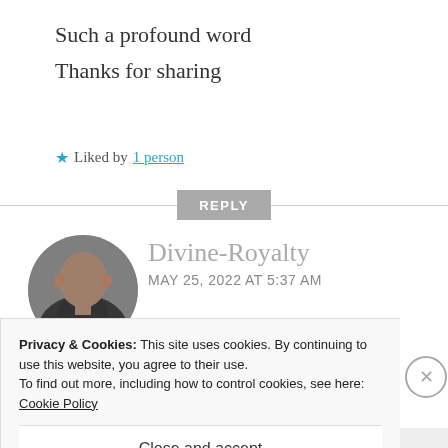Such a profound word
Thanks for sharing
★ Liked by 1 person
REPLY
[Figure (photo): Circular avatar photo of a man in dark checkered vest]
Divine-Royalty
MAY 25, 2022 AT 5:37 AM
Privacy & Cookies: This site uses cookies. By continuing to use this website, you agree to their use.
To find out more, including how to control cookies, see here: Cookie Policy
Close and accept